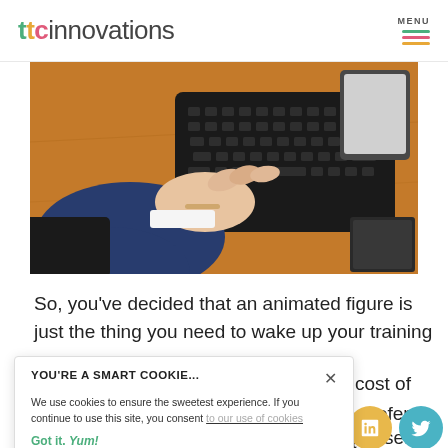ttcinnovations — MENU
[Figure (photo): Person in business suit typing on a black keyboard on an orange wooden desk, with a tablet and notebook visible]
So, you've decided that an animated figure is just the thing you need to wake up your training
YOU'RE A SMART COOKIE...
We use cookies to ensure the sweetest experience. If you continue to use this site, you consent to our use of cookies
Got it. Yum!